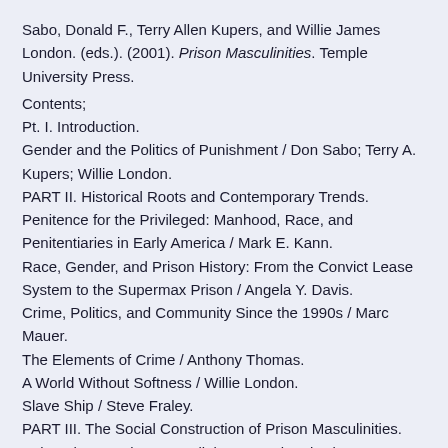Sabo, Donald F., Terry Allen Kupers, and Willie James London. (eds.). (2001). Prison Masculinities. Temple University Press.
Contents;
Pt. I. Introduction.
Gender and the Politics of Punishment / Don Sabo; Terry A. Kupers; Willie London.
PART II. Historical Roots and Contemporary Trends.
Penitence for the Privileged: Manhood, Race, and Penitentiaries in Early America / Mark E. Kann.
Race, Gender, and Prison History: From the Convict Lease System to the Supermax Prison / Angela Y. Davis.
Crime, Politics, and Community Since the 1990s / Marc Mauer.
The Elements of Crime / Anthony Thomas.
A World Without Softness / Willie London.
Slave Ship / Steve Fraley.
PART III. The Social Construction of Prison Masculinities.
Being There: Being Masculinity, Control and Prison...